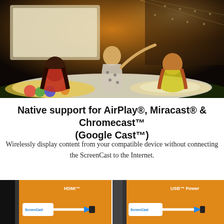[Figure (photo): Three young people sitting on colorful blankets/pillows outdoors at night watching a projection screen, with string lights in the background]
Native support for AirPlay®, Miracast® & Chromecast™ (Google Cast™)
Wirelessly display content from your compatible device without connecting the ScreenCast to the Internet.
[Figure (photo): ScreenCast device plugged into an HDMI port on an orange/yellow TV or display, with HDMI™ label and blue/white cable]
[Figure (photo): ScreenCast device connected to USB Power on an orange/yellow background, with USB™ Power label]